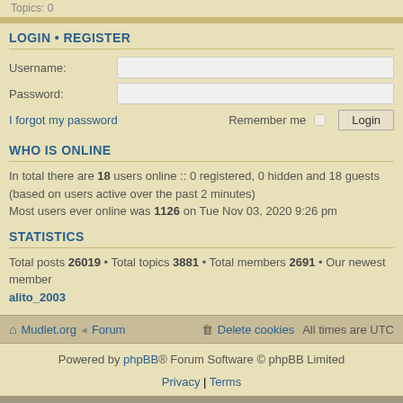Topics: 0
LOGIN • REGISTER
Username:
Password:
I forgot my password   Remember me  Login
WHO IS ONLINE
In total there are 18 users online :: 0 registered, 0 hidden and 18 guests (based on users active over the past 2 minutes)
Most users ever online was 1126 on Tue Nov 03, 2020 9:26 pm
STATISTICS
Total posts 26019 • Total topics 3881 • Total members 2691 • Our newest member alito_2003
Mudlet.org | Forum | Delete cookies   All times are UTC
Powered by phpBB® Forum Software © phpBB Limited
Privacy | Terms